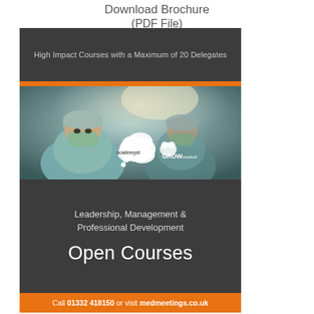Download Brochure (PDF File)
[Figure (illustration): Medical brochure cover showing surgeons in an operating theater with Academyst and GROW Medical logos. Contains text: 'High Impact Courses with a Maximum of 20 Delegates', 'Leadership, Management & Professional Development', 'Open Courses', and a footer 'Call 01332 418150 or visit medmeetings.co.uk']